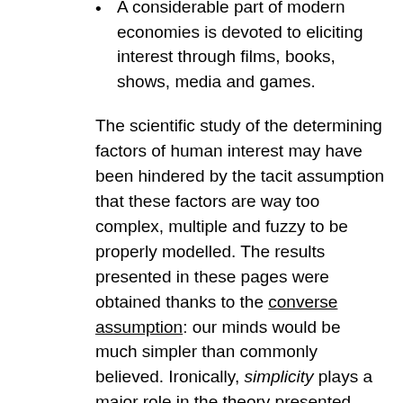A considerable part of modern economies is devoted to eliciting interest through films, books, shows, media and games.
The scientific study of the determining factors of human interest may have been hindered by the tacit assumption that these factors are way too complex, multiple and fuzzy to be properly modelled. The results presented in these pages were obtained thanks to the converse assumption: our minds would be much simpler than commonly believed. Ironically, simplicity plays a major role in the theory presented here. Our minds seem to possess the amazing ability to monitor the complexity of some of their own processes. Here, complexity has to be taken in its technical acceptation (size of minimal description).
These pages are an invitation to challenge the model they present. All suggestions, critiques and